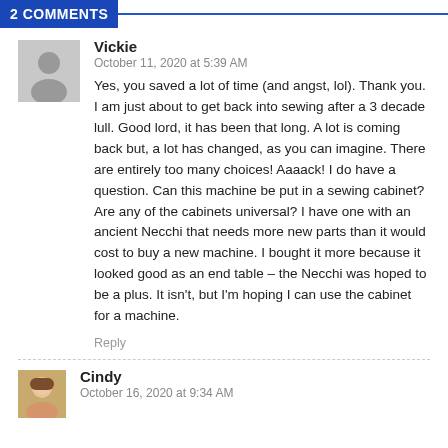2 COMMENTS
Vickie
October 11, 2020 at 5:39 AM
Yes, you saved a lot of time (and angst, lol). Thank you. I am just about to get back into sewing after a 3 decade lull. Good lord, it has been that long. A lot is coming back but, a lot has changed, as you can imagine. There are entirely too many choices! Aaaack! I do have a question. Can this machine be put in a sewing cabinet? Are any of the cabinets universal? I have one with an ancient Necchi that needs more new parts than it would cost to buy a new machine. I bought it more because it looked good as an end table – the Necchi was hoped to be a plus. It isn't, but I'm hoping I can use the cabinet for a machine.
Cindy
October 16, 2020 at 9:34 AM